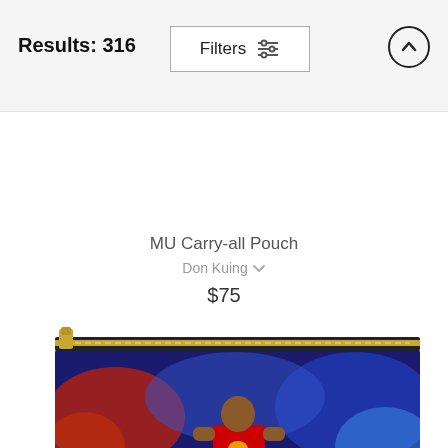Results: 316
Filters
MU Carry-all Pouch
Don Kuing
$75
[Figure (photo): A carry-all pouch product featuring a Manchester United player in red kit dribbling a football on a green pitch, with a blurred crowd in the background. The pouch has a gold zipper at the top.]